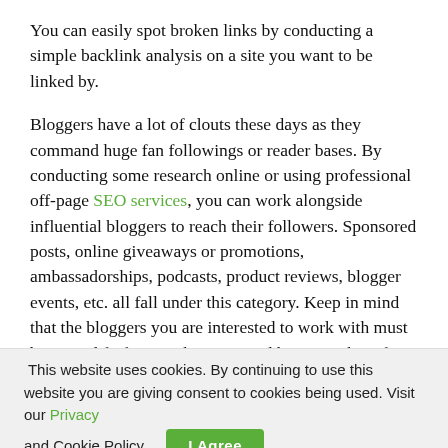You can easily spot broken links by conducting a simple backlink analysis on a site you want to be linked by.
Bloggers have a lot of clouts these days as they command huge fan followings or reader bases. By conducting some research online or using professional off-page SEO services, you can work alongside influential bloggers to reach their followers. Sponsored posts, online giveaways or promotions, ambassadorships, podcasts, product reviews, blogger events, etc. all fall under this category. Keep in mind that the bloggers you are interested to work with must be a good fit for your business and be somewhat of an industry or domain expert or pandit to help you in your off-page SEO efforts.
This website uses cookies. By continuing to use this website you are giving consent to cookies being used. Visit our Privacy and Cookie Policy.